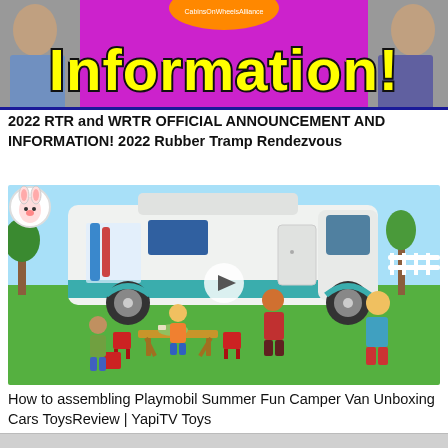[Figure (screenshot): Thumbnail image with bright magenta/pink background, yellow bold text reading 'Information!' in Impact font with black outline, two people visible on left and right sides, orange circular logo at top center.]
2022 RTR and WRTR OFFICIAL ANNOUNCEMENT AND INFORMATION! 2022 Rubber Tramp Rendezvous
[Figure (screenshot): Video thumbnail showing Playmobil toy camper van scene on green grass with toy figures of family members around outdoor picnic table with red chairs, blue sky background, play button overlay, rabbit avatar icon in top-left corner.]
How to assembling Playmobil Summer Fun Camper Van Unboxing Cars ToysReview | YapiTV Toys
[Figure (screenshot): Partial bottom thumbnail strip, partially cut off at bottom of page.]